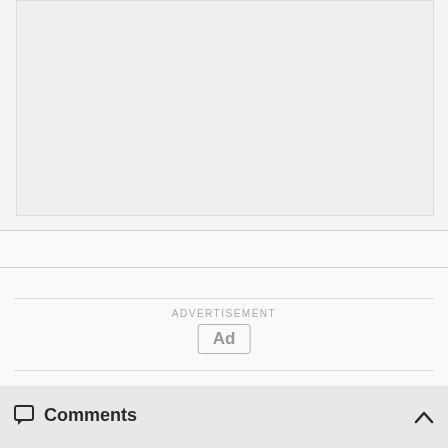[Figure (other): Large light gray placeholder/image box at the top of the page]
[Figure (other): Advertisement placeholder showing 'ADVERTISEMENT' label and 'Ad' button]
Comments